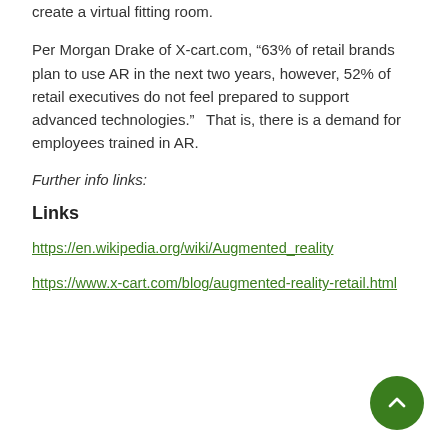create a virtual fitting room.
Per Morgan Drake of X-cart.com, “63% of retail brands plan to use AR in the next two years, however, 52% of retail executives do not feel prepared to support advanced technologies.”  That is, there is a demand for employees trained in AR.
Further info links:
Links
https://en.wikipedia.org/wiki/Augmented_reality
https://www.x-cart.com/blog/augmented-reality-retail.html